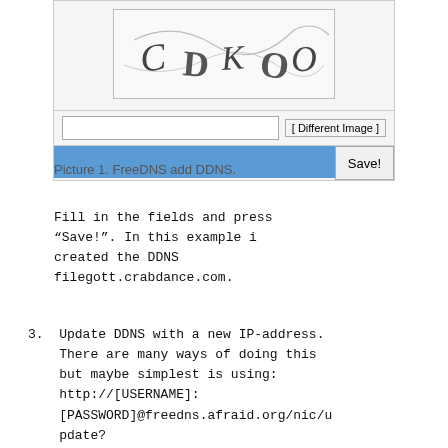[Figure (screenshot): FreeDNS add DDNS form screenshot showing a CAPTCHA image with distorted text, an input field, a '[ Different Image ]' button, a blue bar, and a 'Save!' button.]
Picture 1. FreeDNS add DDNS.
Fill in the fields and press “Save!”. In this example i created the DDNS filegott.crabdance.com.
3.  Update DDNS with a new IP-address. There are many ways of doing this but maybe simplest is using: http://[USERNAME]:[PASSWORD]@freedns.afraid.org/nic/update?hostname=filgott.crabdance.se&myip=